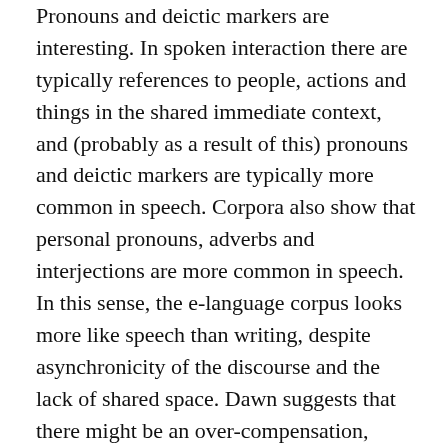Pronouns and deictic markers are interesting. In spoken interaction there are typically references to people, actions and things in the shared immediate context, and (probably as a result of this) pronouns and deictic markers are typically more common in speech. Corpora also show that personal pronouns, adverbs and interjections are more common in speech. In this sense, the e-language corpus looks more like speech than writing, despite asynchronicity of the discourse and the lack of shared space. Dawn suggests that there might be an over-compensation, since in online forums we are more reliant, almost exclusively reliant, on language for interactional aspects of communication.